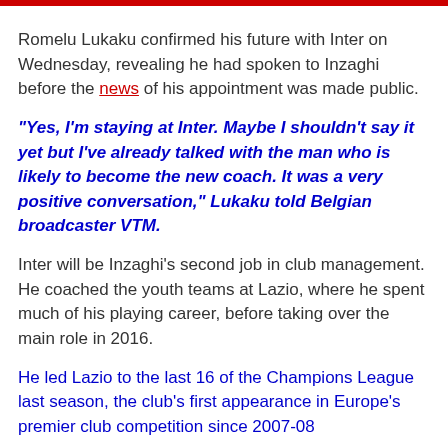Romelu Lukaku confirmed his future with Inter on Wednesday, revealing he had spoken to Inzaghi before the news of his appointment was made public.
“Yes, I’m staying at Inter. Maybe I shouldn’t say it yet but I’ve already talked with the man who is likely to become the new coach. It was a very positive conversation,” Lukaku told Belgian broadcaster VTM.
Inter will be Inzaghi’s second job in club management. He coached the youth teams at Lazio, where he spent much of his playing career, before taking over the main role in 2016.
He led Lazio to the last 16 of the Champions League last season, the club’s first appearance in Europe’s premier club competition since 2007-08